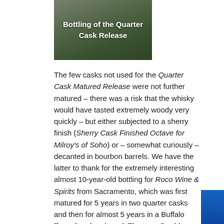[Figure (photo): Photo of bottling process with text overlay reading 'Bottling of the Quarter Cask Release']
The few casks not used for the Quarter Cask Matured Release were not further matured – there was a risk that the whisky would have tasted extremely woody very quickly – but either subjected to a sherry finish (Sherry Cask Finished Octave for Milroy's of Soho) or – somewhat curiously – decanted in bourbon barrels. We have the latter to thank for the extremely interesting almost 10-year-old bottling for Roco Wine & Spirits from Sacramento, which was first matured for 5 years in two quarter casks and then for almost 5 years in a Buffalo Trace bourbon barrel. The term Double Maturation is more appropriate than Finishing here.